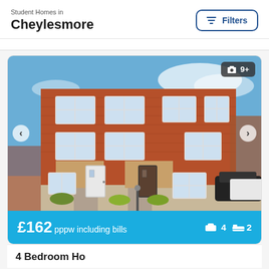Student Homes in Cheylesmore
[Figure (photo): Exterior photo of a red brick semi-detached student house with two front doors, multiple windows, parked cars visible on right, blue sky background. Photo count badge showing 9+ images.]
£162 pppw including bills  🛏 4  🛁 2
4 Bedroom Ho...